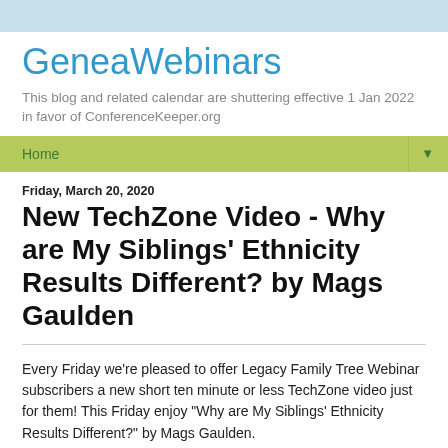GeneaWebinars
This blog and related calendar are shuttering effective 1 Jan 2022 in favor of ConferenceKeeper.org
Home
Friday, March 20, 2020
New TechZone Video - Why are My Siblings' Ethnicity Results Different? by Mags Gaulden
Every Friday we're pleased to offer Legacy Family Tree Webinar subscribers a new short ten minute or less TechZone video just for them! This Friday enjoy "Why are My Siblings' Ethnicity Results Different?" by Mags Gaulden.